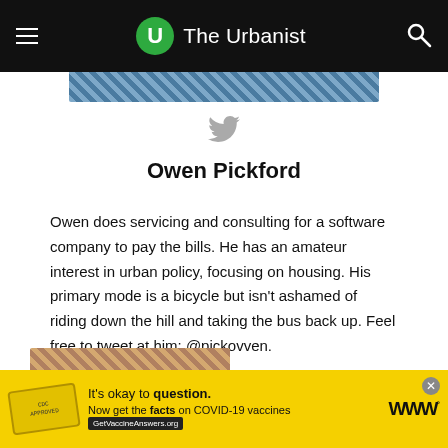The Urbanist
[Figure (photo): Partial author photo strip at top of author card]
[Figure (other): Twitter bird icon in gray]
Owen Pickford
Owen does servicing and consulting for a software company to pay the bills. He has an amateur interest in urban policy, focusing on housing. His primary mode is a bicycle but isn't ashamed of riding down the hill and taking the bus back up. Feel free to tweet at him: @pickovven.
[Figure (photo): Partial photo strip at bottom of page]
[Figure (infographic): COVID-19 vaccine advertisement banner with yellow background, stamp graphic, text 'It's okay to question. Now get the facts on COVID-19 vaccines GetVaccineAnswers.org' and weather.com logo]